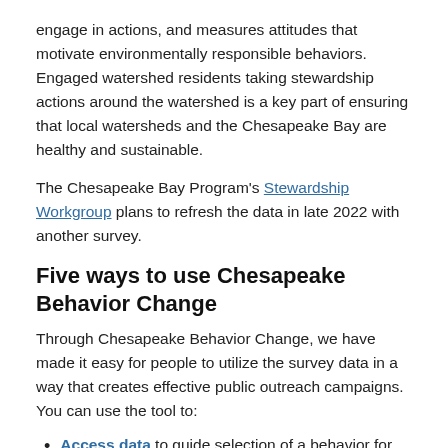engage in actions, and measures attitudes that motivate environmentally responsible behaviors.  Engaged watershed residents taking stewardship actions around the watershed is a key part of ensuring that local watersheds and the Chesapeake Bay are healthy and sustainable.
The Chesapeake Bay Program's Stewardship Workgroup plans to refresh the data in late 2022 with another survey.
Five ways to use Chesapeake Behavior Change
Through Chesapeake Behavior Change, we have made it easy for people to utilize the survey data in a way that creates effective public outreach campaigns. You can use the tool to:
Access data to guide selection of a behavior for